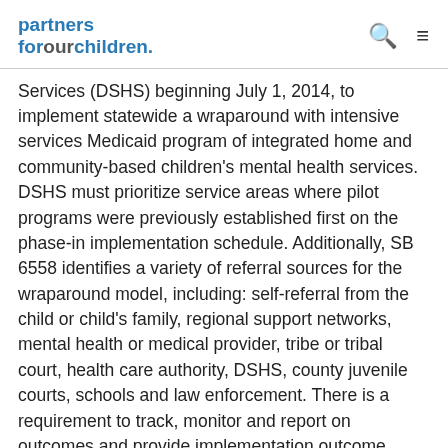partners forourchildren.
Services (DSHS) beginning July 1, 2014, to implement statewide a wraparound with intensive services Medicaid program of integrated home and community-based children's mental health services. DSHS must prioritize service areas where pilot programs were previously established first on the phase-in implementation schedule. Additionally, SB 6558 identifies a variety of referral sources for the wraparound model, including: self-referral from the child or child's family, regional support networks, mental health or medical provider, tribe or tribal court, health care authority, DSHS, county juvenile courts, schools and law enforcement. There is a requirement to track, monitor and report on outcomes and provide implementation outcome reports to the Office of Financial Management and the appropriate committees